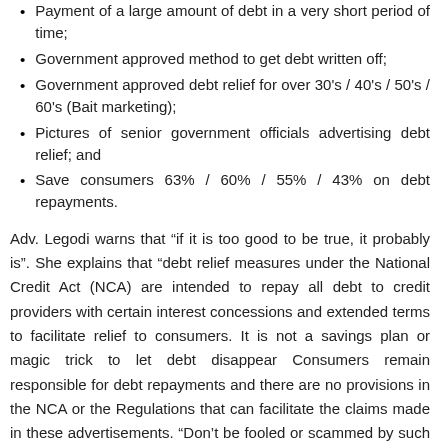Payment of a large amount of debt in a very short period of time;
Government approved method to get debt written off;
Government approved debt relief for over 30's / 40's / 50's / 60's (Bait marketing);
Pictures of senior government officials advertising debt relief; and
Save consumers 63% / 60% / 55% / 43% on debt repayments.
Adv. Legodi warns that “if it is too good to be true, it probably is”. She explains that “debt relief measures under the National Credit Act (NCA) are intended to repay all debt to credit providers with certain interest concessions and extended terms to facilitate relief to consumers. It is not a savings plan or magic trick to let debt disappear Consumers remain responsible for debt repayments and there are no provisions in the NCA or the Regulations that can facilitate the claims made in these advertisements. “Don’t be fooled or scammed by such unlawful and false